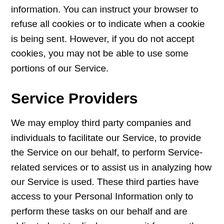information. You can instruct your browser to refuse all cookies or to indicate when a cookie is being sent. However, if you do not accept cookies, you may not be able to use some portions of our Service.
Service Providers
We may employ third party companies and individuals to facilitate our Service, to provide the Service on our behalf, to perform Service-related services or to assist us in analyzing how our Service is used. These third parties have access to your Personal Information only to perform these tasks on our behalf and are obligated not to disclose or use it for any other purpose.